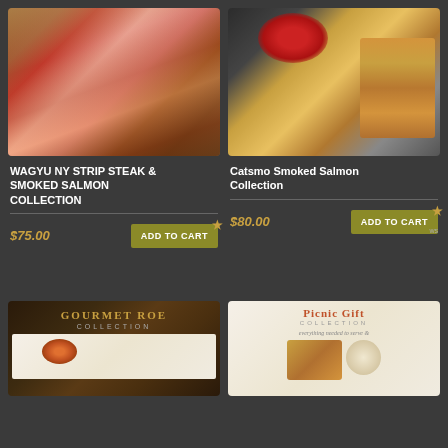[Figure (photo): Sliced Wagyu NY Strip Steak on a wooden cutting board with rosemary and chili pepper]
[Figure (photo): Catsmo Smoked Salmon Collection gift box with Oprah's Favorite Things 2019 ornament]
WAGYU NY STRIP STEAK & SMOKED SALMON COLLECTION
Catsmo Smoked Salmon Collection
$75.00
ADD TO CART
$80.00
ADD TO CART
[Figure (photo): Gourmet Roe Collection product image with roe in glass jar]
[Figure (photo): Picnic Gift Collection with smoked salmon and cream cheese]